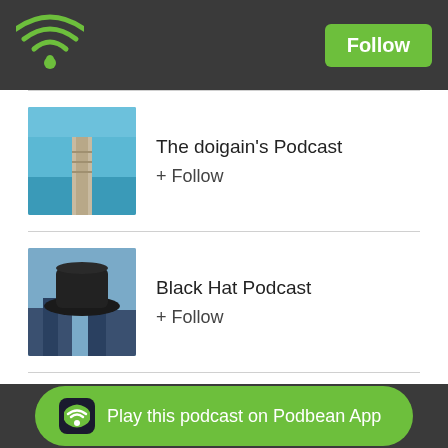Podbean app header with WiFi logo and Follow button
The doigain's Podcast + Follow
Black Hat Podcast + Follow
More...
Followers
rrr_cutulu
Play this podcast on Podbean App